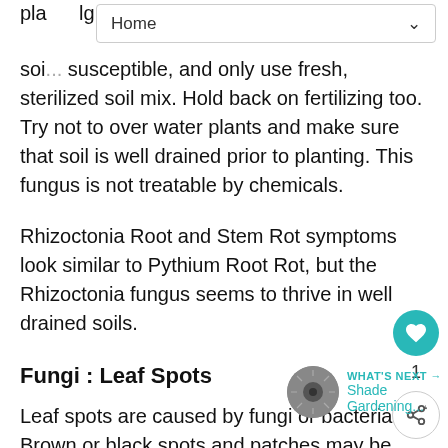Home
susceptible, and only use fresh, sterilized soil mix. Hold back on fertilizing too. Try not to over water plants and make sure that soil is well drained prior to planting. This fungus is not treatable by chemicals.
Rhizoctonia Root and Stem Rot symptoms look similar to Pythium Root Rot, but the Rhizoctonia fungus seems to thrive in well drained soils.
Fungi : Leaf Spots
Leaf spots are caused by fungi or bacteria. Brown or black spots and patches may be